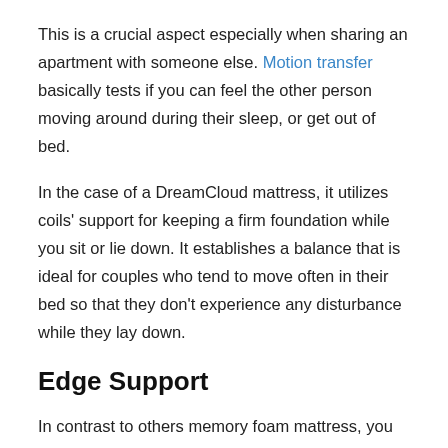This is a crucial aspect especially when sharing an apartment with someone else. Motion transfer basically tests if you can feel the other person moving around during their sleep, or get out of bed.
In the case of a DreamCloud mattress, it utilizes coils' support for keeping a firm foundation while you sit or lie down. It establishes a balance that is ideal for couples who tend to move often in their bed so that they don't experience any disturbance while they lay down.
Edge Support
In contrast to others memory foam mattress, you won't feel yourself heavily falling into the mattress. The firm coils and additional memory foam provides support when you sleep and when you awake.
The thick coils within the 4th layer provide the mattress its sturdy